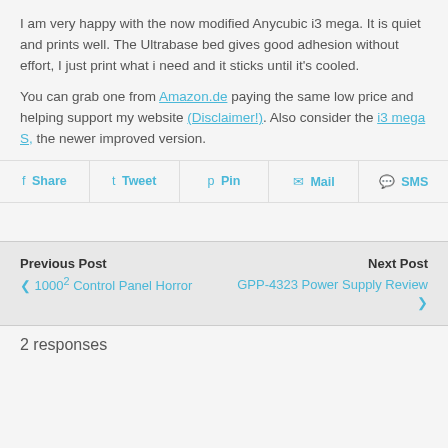I am very happy with the now modified Anycubic i3 mega. It is quiet and prints well. The Ultrabase bed gives good adhesion without effort, I just print what i need and it sticks until it's cooled.
You can grab one from Amazon.de paying the same low price and helping support my website (Disclaimer!). Also consider the i3 mega S, the newer improved version.
Share | Tweet | Pin | Mail | SMS
Previous Post: ❮ 1000² Control Panel Horror | Next Post: GPP-4323 Power Supply Review ❯
2 responses